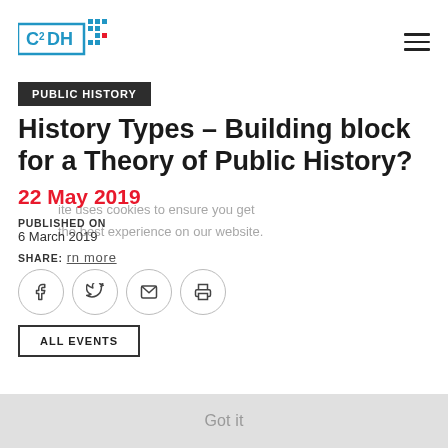[Figure (logo): C2DH logo with colored dots pattern]
PUBLIC HISTORY
History Types – Building block for a Theory of Public History?
22 May 2019
PUBLISHED ON
6 March 2019
This site uses cookies to ensure you get the best experience on our website.
SHARE: learn more
[Figure (infographic): Social share buttons: Facebook, Twitter, Email, Print]
Got it
ALL EVENTS